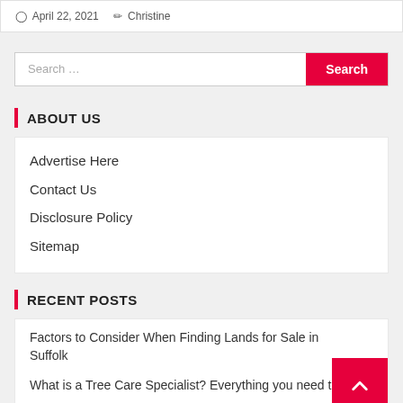April 22, 2021   Christine
Search ...
ABOUT US
Advertise Here
Contact Us
Disclosure Policy
Sitemap
RECENT POSTS
Factors to Consider When Finding Lands for Sale in Suffolk
What is a Tree Care Specialist? Everything you need to